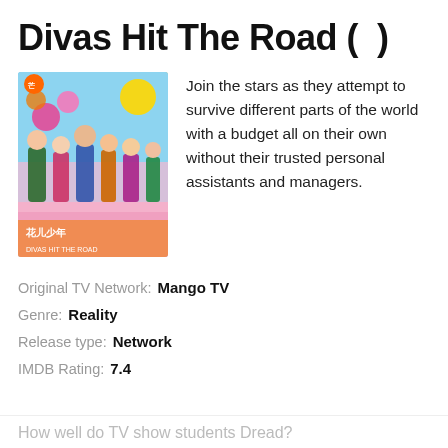Divas Hit The Road (  )
[Figure (photo): Poster image for Divas Hit The Road showing colorful group of young people with Chinese text at bottom]
Join the stars as they attempt to survive different parts of the world with a budget all on their own without their trusted personal assistants and managers.
Original TV Network:  Mango TV
Genre:  Reality
Release type:  Network
IMDB Rating:  7.4
How well do TV show students Dread?